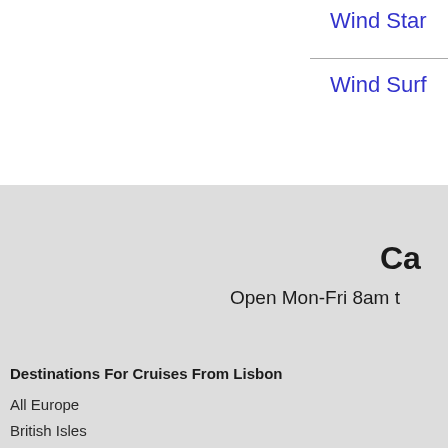Wind Star
Wind Surf
Ca
Open Mon-Fri 8am t
Destinations For Cruises From Lisbon
All Europe
British Isles
Canary Islands
Mediterranean
Northern Europe
Repositioning
Transatlantic
Other
All Eur
Douro
Portug
Copyright © 2022 by